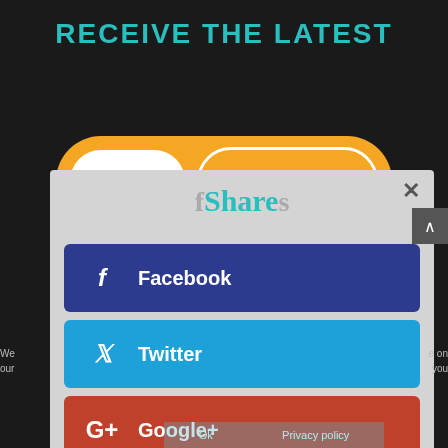RECEIVE THE LATEST
[Figure (screenshot): Email subscription form with orange pill-shaped background containing a white email input field and an orange 'Sign Me Up!' button]
[Figure (screenshot): Social sharing modal popup with close button, 'fShares' heading, and four social share buttons: Facebook (dark blue), Twitter (cyan blue), Google+ (red), LinkedIn (blue)]